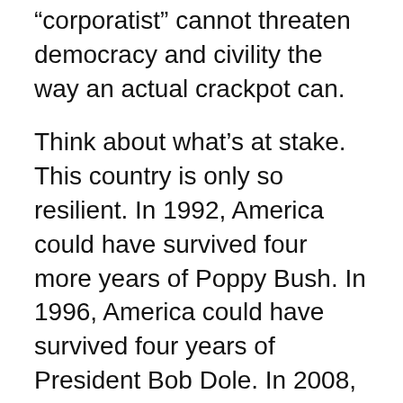“corporatist” cannot threaten democracy and civility the way an actual crackpot can.
Think about what’s at stake. This country is only so resilient. In 1992, America could have survived four more years of Poppy Bush. In 1996, America could have survived four years of President Bob Dole. In 2008, America could have survived four years of President John McCain. In 2012, America could have even survived four years of President Mitt Romney.
Does anyone think this country could survive four days, much less four years, of President Donald Trump?
The progressives currently feuding over the merits of Clinton v. Sanders will lay down their rhetorical arms and embrace each other as brothers and sisters at the conclusion of the Democratic primary. They will unify as